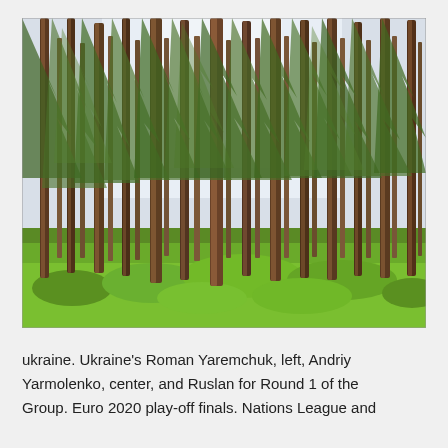[Figure (photo): A forest of tall pine trees with straight brown trunks rising high, with green undergrowth covering the forest floor. The sky is overcast/white visible between the treetops.]
ukraine. Ukraine's Roman Yaremchuk, left, Andriy Yarmolenko, center, and Ruslan for Round 1 of the Group. Euro 2020 play-off finals. Nations League and